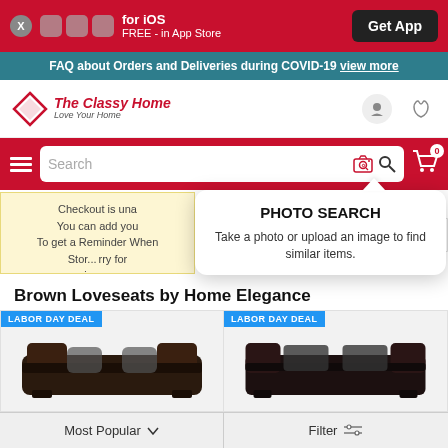[Figure (screenshot): App download banner with iOS app promotion and Get App button]
FAQ about Orders and Deliveries during COVID-19 view more
[Figure (logo): The Classy Home - Love Your Home logo with diamond shape]
[Figure (screenshot): Search bar with camera icon, search icon and cart with 0 items]
[Figure (infographic): Photo Search popup tooltip: PHOTO SEARCH - Take a photo or upload an image to find similar items.]
Checkout is unavailable. You can add you... To get a Reminder When Stor... ...rry for any inconve...
Brown Loveseats by Home Elegance
[Figure (photo): LABOR DAY DEAL - Dark brown leather loveseat product image (left)]
[Figure (photo): LABOR DAY DEAL - Dark brown leather loveseat product image (right)]
Most Popular ∨   Filter